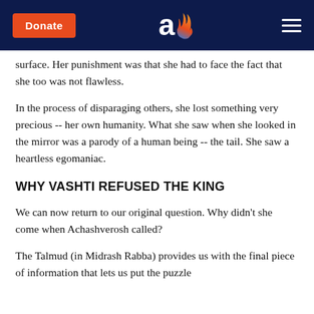Donate | [Aish logo] | [menu]
surface. Her punishment was that she had to face the fact that she too was not flawless.
In the process of disparaging others, she lost something very precious -- her own humanity. What she saw when she looked in the mirror was a parody of a human being -- the tail. She saw a heartless egomaniac.
WHY VASHTI REFUSED THE KING
We can now return to our original question. Why didn't she come when Achashverosh called?
The Talmud (in Midrash Rabba) provides us with the final piece of information that lets us put the puzzle